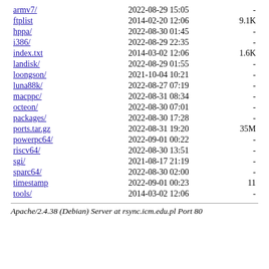| Name | Date | Time | Size |
| --- | --- | --- | --- |
| armv7/ | 2022-08-29 | 15:05 | - |
| ftplist | 2014-02-20 | 12:06 | 9.1K |
| hppa/ | 2022-08-30 | 01:45 | - |
| i386/ | 2022-08-29 | 22:35 | - |
| index.txt | 2014-03-02 | 12:06 | 1.6K |
| landisk/ | 2022-08-29 | 01:55 | - |
| loongson/ | 2021-10-04 | 10:21 | - |
| luna88k/ | 2022-08-27 | 07:19 | - |
| macppc/ | 2022-08-31 | 08:34 | - |
| octeon/ | 2022-08-30 | 07:01 | - |
| packages/ | 2022-08-30 | 17:28 | - |
| ports.tar.gz | 2022-08-31 | 19:20 | 35M |
| powerpc64/ | 2022-09-01 | 00:22 | - |
| riscv64/ | 2022-08-30 | 13:51 | - |
| sgi/ | 2021-08-17 | 21:19 | - |
| sparc64/ | 2022-08-30 | 02:00 | - |
| timestamp | 2022-09-01 | 00:23 | 11 |
| tools/ | 2014-03-02 | 12:06 | - |
Apache/2.4.38 (Debian) Server at rsync.icm.edu.pl Port 80